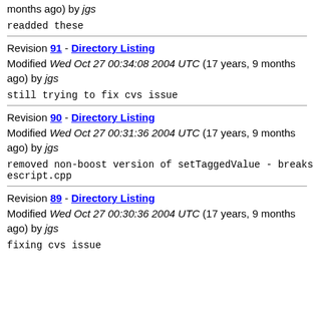months ago) by jgs
readded these
Revision 91 - Directory Listing
Modified Wed Oct 27 00:34:08 2004 UTC (17 years, 9 months ago) by jgs
still trying to fix cvs issue
Revision 90 - Directory Listing
Modified Wed Oct 27 00:31:36 2004 UTC (17 years, 9 months ago) by jgs
removed non-boost version of setTaggedValue - breaks escript.cpp
Revision 89 - Directory Listing
Modified Wed Oct 27 00:30:36 2004 UTC (17 years, 9 months ago) by jgs
fixing cvs issue